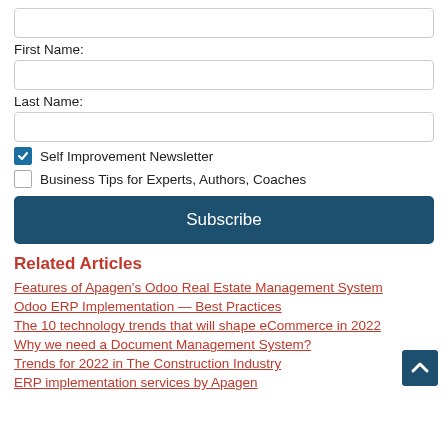First Name:
Last Name:
Self Improvement Newsletter
Business Tips for Experts, Authors, Coaches
Subscribe
Related Articles
Features of Apagen's Odoo Real Estate Management System
Odoo ERP Implementation — Best Practices
The 10 technology trends that will shape eCommerce in 2022
Why we need a Document Management System?
Trends for 2022 in The Construction Industry
ERP implementation services by Apagen